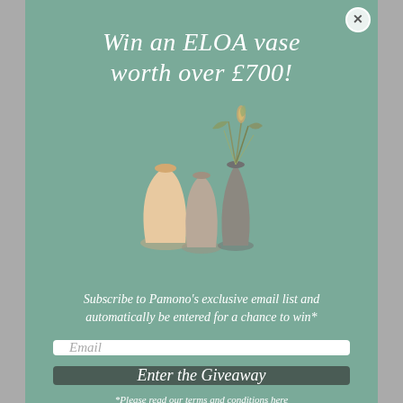Win an ELOA vase worth over £700!
[Figure (photo): Three decorative ELOA vases of different sizes and colors with dried grass/plant stems, displayed on a teal/sage green background.]
Subscribe to Pamono's exclusive email list and automatically be entered for a chance to win*
Email
Enter the Giveaway
*Please read our terms and conditions here